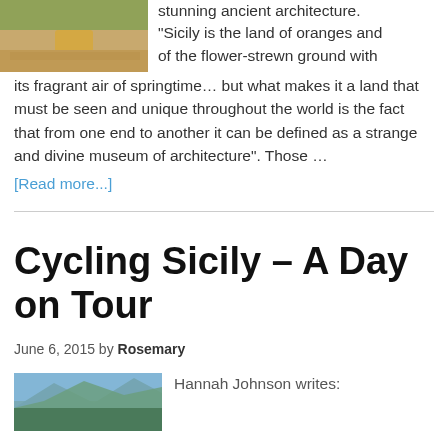[Figure (photo): Small landscape photo showing sandy/desert terrain with a hay bale]
stunning ancient architecture. "Sicily is the land of oranges and of the flower-strewn ground with its fragrant air of springtime… but what makes it a land that must be seen and unique throughout the world is the fact that from one end to another it can be defined as a strange and divine museum of architecture". Those …
[Read more...]
Cycling Sicily – A Day on Tour
June 6, 2015 by Rosemary
[Figure (photo): Landscape photo showing mountains and scenic terrain]
Hannah Johnson writes: